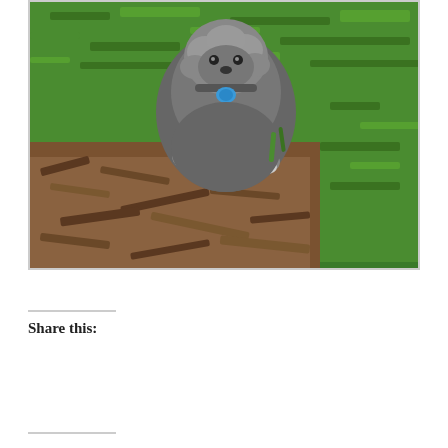[Figure (photo): A small dark grey fluffy dog with a blue tag collar lying on green grass with wood mulch in the foreground, viewed from above]
Share this:
[Figure (other): Social sharing buttons: Tweet (Twitter/blue), Email (white/grey border), SHARE (LinkedIn/blue), Post (Tumblr/dark blue), Save (Pinterest/red), Pocket (white/red border), 0 count button]